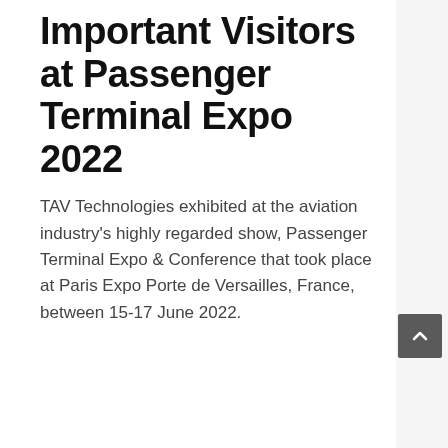Important Visitors at Passenger Terminal Expo 2022
TAV Technologies exhibited at the aviation industry's highly regarded show, Passenger Terminal Expo & Conference that took place at Paris Expo Porte de Versailles, France, between 15-17 June 2022.